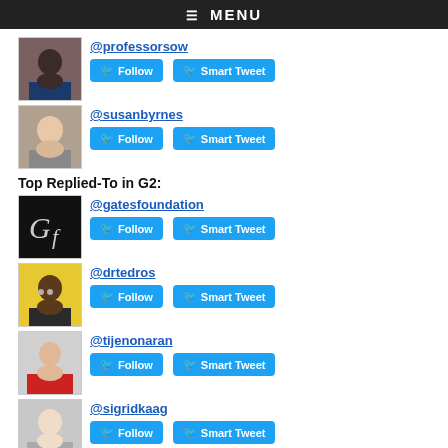≡ MENU
[Figure (photo): Profile photo of @professorsow]
@professorsow
Follow | Smart Tweet
[Figure (photo): Profile photo of @susanbyrnes]
@susanbyrnes
Follow | Smart Tweet
Top Replied-To in G2:
[Figure (logo): Gates Foundation logo (Gf on black background)]
@gatesfoundation
Follow | Smart Tweet
[Figure (photo): Profile photo of @drtedros]
@drtedros
Follow | Smart Tweet
[Figure (photo): Profile photo of @tijenonaran]
@tijenonaran
Follow | Smart Tweet
[Figure (photo): Profile photo of @sigridkaag]
@sigridkaag
Follow | Smart Tweet
[Figure (photo): Broken image for @billgates]
@billgates
Follow | Smart Tweet